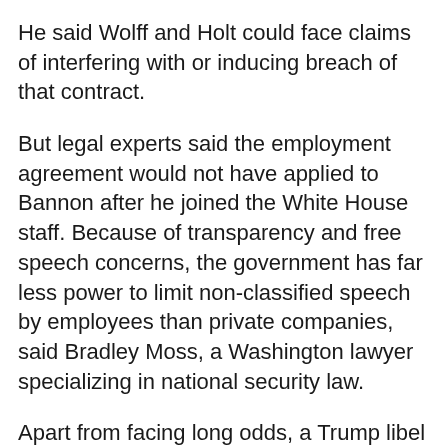He said Wolff and Holt could face claims of interfering with or inducing breach of that contract.
But legal experts said the employment agreement would not have applied to Bannon after he joined the White House staff. Because of transparency and free speech concerns, the government has far less power to limit non-classified speech by employees than private companies, said Bradley Moss, a Washington lawyer specializing in national security law.
Apart from facing long odds, a Trump libel lawsuit would also force the president to participate in an intrusive disclosure process.